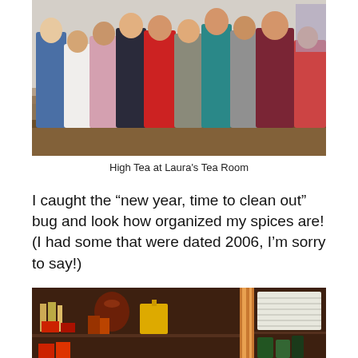[Figure (photo): Group photo of approximately 10 women standing together at what appears to be a tea room event, with tables visible in the background]
High Tea at Laura’s Tea Room
I caught the “new year, time to clean out” bug and look how organized my spices are! (I had some that were dated 2006, I’m sorry to say!)
[Figure (photo): Photo of an open wooden cabinet showing organized spices and jars on the left section and stacked plates on the right section]